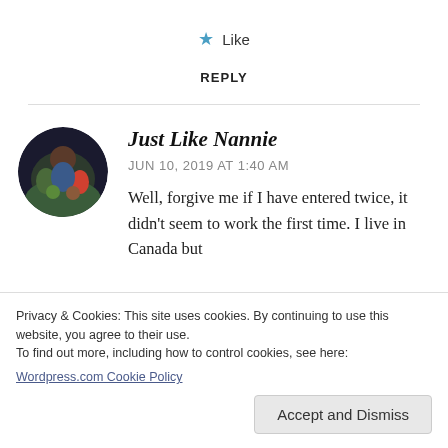★ Like
REPLY
Just Like Nannie
JUN 10, 2019 AT 1:40 AM
Well, forgive me if I have entered twice, it didn't seem to work the first time. I live in Canada but
Privacy & Cookies: This site uses cookies. By continuing to use this website, you agree to their use.
To find out more, including how to control cookies, see here:
Wordpress.com Cookie Policy
Accept and Dismiss